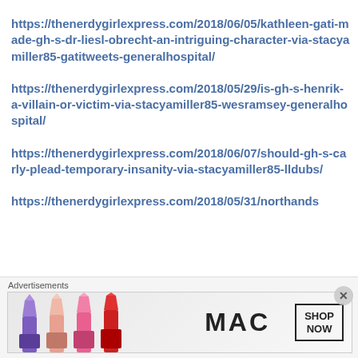https://thenerdygirlexpress.com/2018/06/05/kathleen-gati-made-gh-s-dr-liesl-obrecht-an-intriguing-character-via-stacyamiller85-gatitweets-generalhospital/
https://thenerdygirlexpress.com/2018/05/29/is-gh-s-henrik-a-villain-or-victim-via-stacyamiller85-wesramsey-generalhospital/
https://thenerdygirlexpress.com/2018/06/07/should-gh-s-carly-plead-temporary-insanity-via-stacyamiller85-lldubs/
https://thenerdygirlexpress.com/2018/05/31/northands...
Advertisements
[Figure (photo): MAC Cosmetics advertisement showing colorful lipsticks on the left and MAC logo with 'SHOP NOW' box on the right]